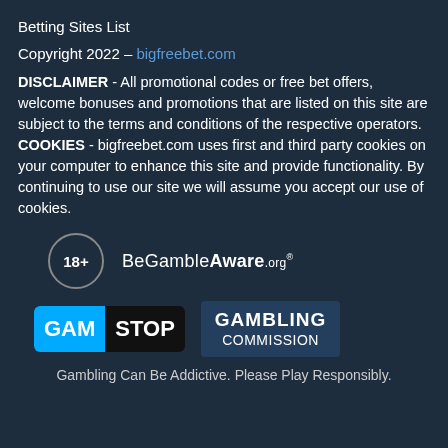Betting Sites List
Copyright 2022 – bigfreebet.com
DISCLAIMER - All promotional codes or free bet offers, welcome bonuses and promotions that are listed on this site are subject to the terms and conditions of the respective operators. COOKIES - bigfreebet.com uses first and third party cookies on your computer to enhance this site and provide functionality. By continuing to use our site we will assume you accept our use of cookies.
[Figure (logo): 18+ age restriction badge circle and BeGambleAware.org logo]
[Figure (logo): GamStop logo and Gambling Commission logo]
Gambling Can Be Addictive. Please Play Responsibly.